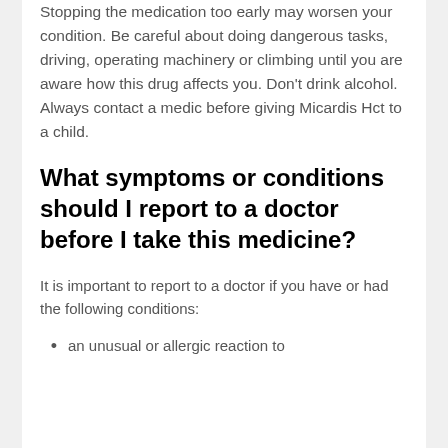Stopping the medication too early may worsen your condition. Be careful about doing dangerous tasks, driving, operating machinery or climbing until you are aware how this drug affects you. Don't drink alcohol. Always contact a medic before giving Micardis Hct to a child.
What symptoms or conditions should I report to a doctor before I take this medicine?
It is important to report to a doctor if you have or had the following conditions:
an unusual or allergic reaction to Micardis Hct, ACE inhibitors, other angiotensin...